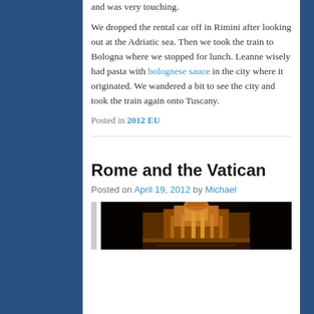and was very touching.
We dropped the rental car off in Rimini after looking out at the Adriatic sea. Then we took the train to Bologna where we stopped for lunch. Leanne wisely had pasta with bolognese sauce in the city where it originated. We wandered a bit to see the city and took the train again onto Tuscany.
Posted in 2012 EU
Rome and the Vatican
Posted on April 19, 2012 by Michael
[Figure (photo): Night photograph of an illuminated ornate building (Trevi Fountain area), lit in warm golden/orange tones against a dark black sky.]